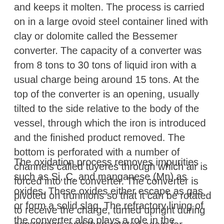and keeps it molten. The process is carried on in a large ovoid steel container lined with clay or dolomite called the Bessemer converter. The capacity of a converter was from 8 tons to 30 tons of liquid iron with a usual charge being around 15 tons. At the top of the converter is an opening, usually tilted to the side relative to the body of the vessel, through which the iron is introduced and the finished product removed. The bottom is perforated with a number of channels called tuyeres through which air is forced into the converter. The converter is pivoted on trunnions so that it can be rotated to receive the charge, turned upright during conversion, and then rotated again for pouring out the liquid steel at the end.
The oxidation process removes impurities such as Si, C, and manganese (Mn) as oxides. These oxides either escape as gas or form a solid slag. The refractory lining of the converter also plays a role in the conversion—the